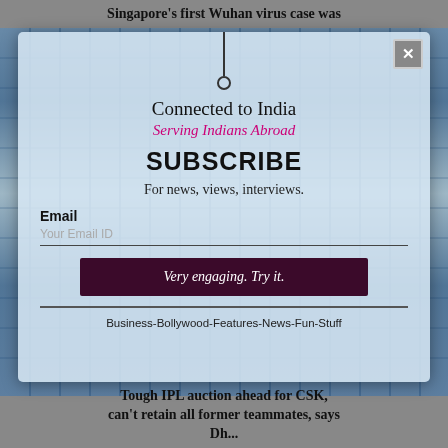Singapore's first Wuhan virus case was
[Figure (screenshot): Subscribe modal overlay on a website. Background shows a blue glass building. Modal contains Connected to India branding, subscribe form with email field and button.]
Connected to India
Serving Indians Abroad
SUBSCRIBE
For news, views, interviews.
Email
Your Email ID
Very engaging. Try it.
Business-Bollywood-Features-News-Fun-Stuff
Tough IPL auction ahead for CSK, can't retain all former teammates, says Dh...